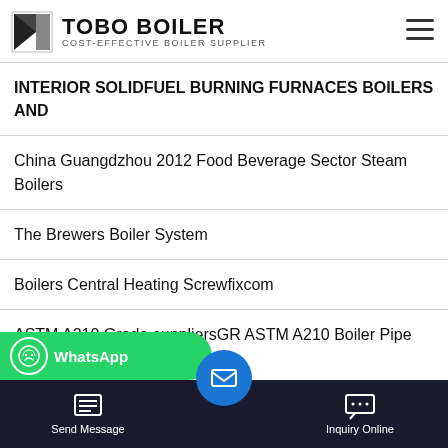TOBO BOILER — COST-EFFECTIVE BOILER SUPPLIER
INTERIOR SOLIDFUEL BURNING FURNACES BOILERS AND
China Guangdzhou 2012 Food Beverage Sector Steam Boilers
The Brewers Boiler System
Boilers Central Heating Screwfixcom
ASTM A210 Grade suppliersGR ASTM A210 Boiler Pipe and Tubes
ply LLC in Albuquerque NM
[Figure (screenshot): WhatsApp contact banner (green), email bubble (blue), and bottom navigation bar with Send Message and Inquiry Online buttons on dark background]